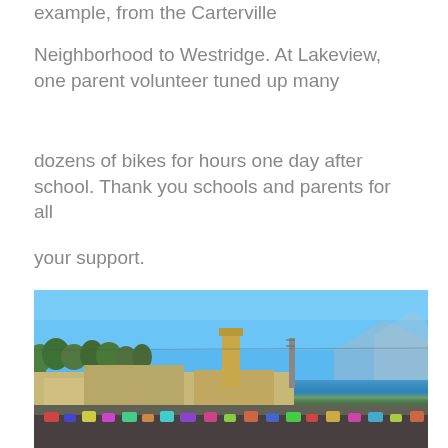example, from the Carterville Neighborhood to Westridge. At Lakeview, one parent volunteer tuned up many dozens of bikes for hours one day after school. Thank you schools and parents for all your support.
[Figure (photo): Outdoor scene showing a school or community building area under a clear blue sky, with trees, a tall tower/chimney structure, mountains in the background, and a crowd of people and vehicles in the foreground.]